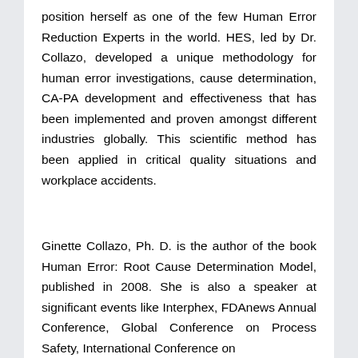position herself as one of the few Human Error Reduction Experts in the world. HES, led by Dr. Collazo, developed a unique methodology for human error investigations, cause determination, CA-PA development and effectiveness that has been implemented and proven amongst different industries globally. This scientific method has been applied in critical quality situations and workplace accidents.
Ginette Collazo, Ph. D. is the author of the book Human Error: Root Cause Determination Model, published in 2008. She is also a speaker at significant events like Interphex, FDAnews Annual Conference, Global Conference on Process Safety, International Conference on